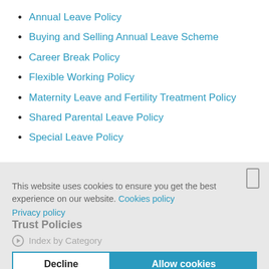Annual Leave Policy
Buying and Selling Annual Leave Scheme
Career Break Policy
Flexible Working Policy
Maternity Leave and Fertility Treatment Policy
Shared Parental Leave Policy
Special Leave Policy
This website uses cookies to ensure you get the best experience on our website. Cookies policy
Privacy policy
Trust Policies
Index by Category
Organisational
Finance